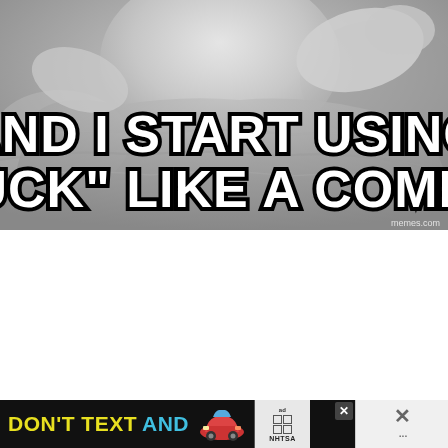[Figure (photo): Black and white photo of a child in a tutu dress with arms outstretched, with meme text overlay reading 'AND I START USING "FUCK" LIKE A COMMA.' and watermark 'memes.com']
[Figure (screenshot): Advertisement banner: DON'T TEXT AND [drive] - NHTSA. Dark background with yellow 'DON'T TEXT' and cyan 'AND' text, red car emoji, AdChoices logo, and close button.]